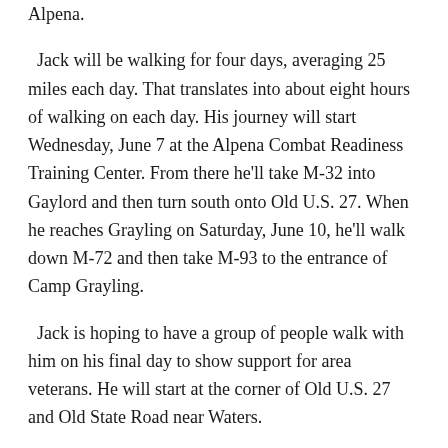Alpena.
Jack will be walking for four days, averaging 25 miles each day. That translates into about eight hours of walking on each day. His journey will start Wednesday, June 7 at the Alpena Combat Readiness Training Center. From there he'll take M-32 into Gaylord and then turn south onto Old U.S. 27. When he reaches Grayling on Saturday, June 10, he'll walk down M-72 and then take M-93 to the entrance of Camp Grayling.
Jack is hoping to have a group of people walk with him on his final day to show support for area veterans. He will start at the corner of Old U.S. 27 and Old State Road near Waters.